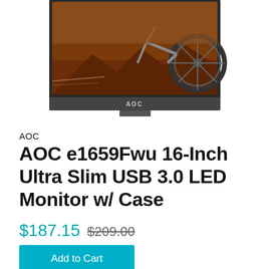[Figure (photo): AOC 16-inch portable monitor displayed at an angle showing a mountain biker on screen, with gray bezels and AOC logo on the bottom bezel]
AOC
AOC e1659Fwu 16-Inch Ultra Slim USB 3.0 LED Monitor w/ Case
$187.15 $209.00
Add to Cart